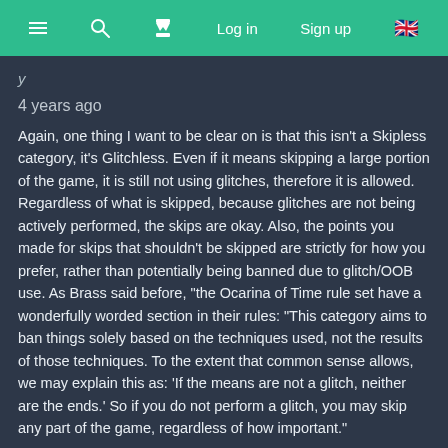≡  🔍  ⏳  Log in  Sign up  🇬🇧
4 years ago
Again, one thing I want to be clear on is that this isn't a Skipless category, it's Glitchless. Even if it means skipping a large portion of the game, it is still not using glitches, therefore it is allowed. Regardless of what is skipped, because glitches are not being actively performed, the skips are okay. Also, the points you made for skips that shouldn't be skipped are strictly for how you prefer, rather than potentially being banned due to glitch/OOB use. As Brass said before, "the Ocarina of Time rule set have a wonderfully worded section in their rules: "This category aims to ban things solely based on the techniques used, not the results of those techniques. To the extent that common sense allows, we may explain this as: 'If the means are not a glitch, neither are the ends.' So if you do not perform a glitch, you may skip any part of the game, regardless of how important."
If you have a problem with specific skips, bring forward any glitch or